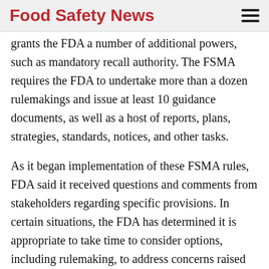Food Safety News
grants the FDA a number of additional powers, such as mandatory recall authority. The FSMA requires the FDA to undertake more than a dozen rulemakings and issue at least 10 guidance documents, as well as a host of reports, plans, strategies, standards, notices, and other tasks.
As it began implementation of these FSMA rules, FDA said it received questions and comments from stakeholders regarding specific provisions. In certain situations, the FDA has determined it is appropriate to take time to consider options, including rulemaking, to address concerns raised by stakeholders while continuing to protect public